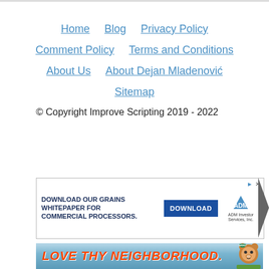Home   Blog   Privacy Policy
Comment Policy   Terms and Conditions
About Us   About Dejan Mladenović
Sitemap
© Copyright Improve Scripting 2019 - 2022
[Figure (infographic): Advertisement banner: DOWNLOAD OUR GRAINS WHITEPAPER FOR COMMERCIAL PROCESSORS. with a blue DOWNLOAD button and ADM Investor Services Inc. logo]
[Figure (infographic): Advertisement banner with mountain background: LOVE THY NEIGHBORHOOD. with Smokey Bear mascot on the right]